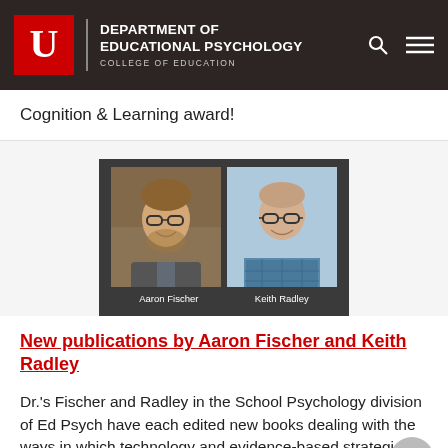DEPARTMENT OF EDUCATIONAL PSYCHOLOGY
COLLEGE OF EDUCATION
Cognition & Learning award!
[Figure (photo): Side-by-side headshots of Aaron Fischer and Keith Radley with their names labeled below, on a dark background.]
New publications by Aaron Fischer and Keith Radley
Dr.'s Fischer and Radley in the School Psychology division of Ed Psych have each edited new books dealing with the ways in which technology and evidence-based strategies can address student